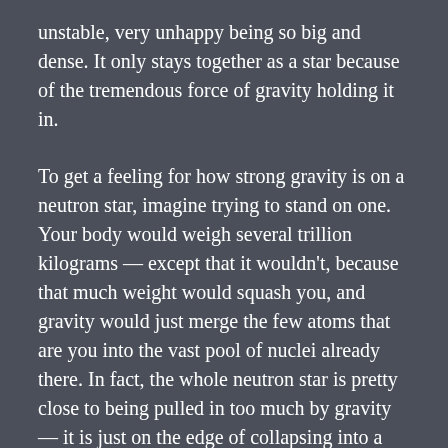unstable, very unhappy being so big and dense. It only stays together as a star because of the tremendous force of gravity holding it in.
To get a feeling for how strong gravity is on a neutron star, imagine trying to stand on one. Your body would weigh several trillion kilograms — except that it wouldn't, because that much weight would squash you, and gravity would just merge the few atoms that are you into the vast pool of nuclei already there. In fact, the whole neutron star is pretty close to being pulled in too much by gravity — it is just on the edge of collapsing into a black hole. It manages to resist this pull